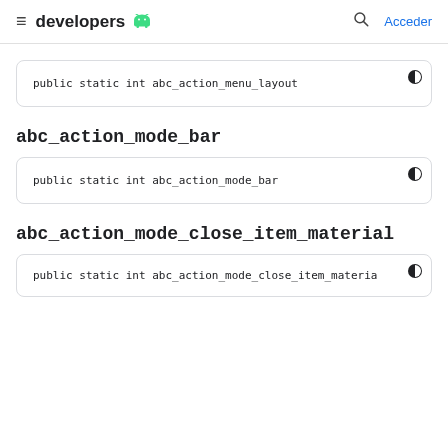developers [android logo] — Acceder
public static int abc_action_menu_layout
abc_action_mode_bar
public static int abc_action_mode_bar
abc_action_mode_close_item_material
public static int abc_action_mode_close_item_materia